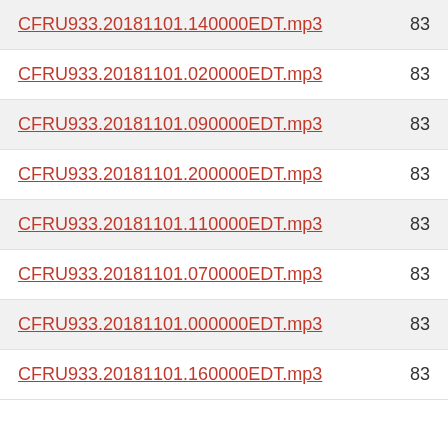CFRU933.20181101.140000EDT.mp3   83
CFRU933.20181101.020000EDT.mp3   83
CFRU933.20181101.090000EDT.mp3   83
CFRU933.20181101.200000EDT.mp3   83
CFRU933.20181101.110000EDT.mp3   83
CFRU933.20181101.070000EDT.mp3   83
CFRU933.20181101.000000EDT.mp3   83
CFRU933.20181101.160000EDT.mp3   83